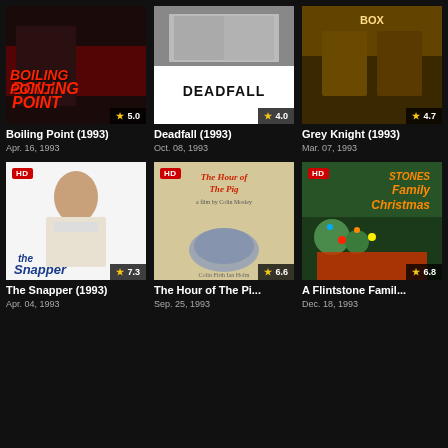[Figure (photo): Movie poster for Boiling Point (1993), dark red tones, rating 5.0]
Boiling Point (1993)
Apr. 16, 1993
[Figure (photo): Movie poster for Deadfall (1993), black and white with DEADFALL text, rating 4.0]
Deadfall (1993)
Oct. 08, 1993
[Figure (photo): Movie poster for Grey Knight (1993), western tones, rating 4.7]
Grey Knight (1993)
Mar. 07, 1993
[Figure (photo): Movie poster for The Snapper (1993), HD badge, white background, woman with towel, rating 7.3]
The Snapper (1993)
Apr. 04, 1993
[Figure (photo): Movie poster for The Hour of The Pig (1993), HD badge, medieval illustration style, rating 6.6]
The Hour of The Pi...
Sep. 25, 1993
[Figure (photo): Movie poster for A Flintstone Family Christmas (1993), HD badge, animated Flintstones characters, rating 6.8]
A Flintstone Famil...
Dec. 18, 1993